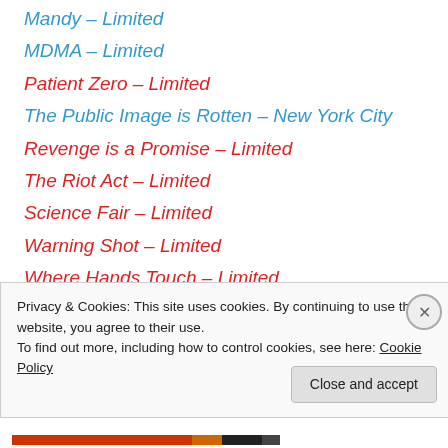Mandy – Limited
MDMA – Limited
Patient Zero – Limited
The Public Image is Rotten – New York City
Revenge is a Promise – Limited
The Riot Act – Limited
Science Fair – Limited
Warning Shot – Limited
Where Hands Touch – Limited
White Boy Rick – Limited
The Wrong Friend – Lifetime
Privacy & Cookies: This site uses cookies. By continuing to use this website, you agree to their use. To find out more, including how to control cookies, see here: Cookie Policy